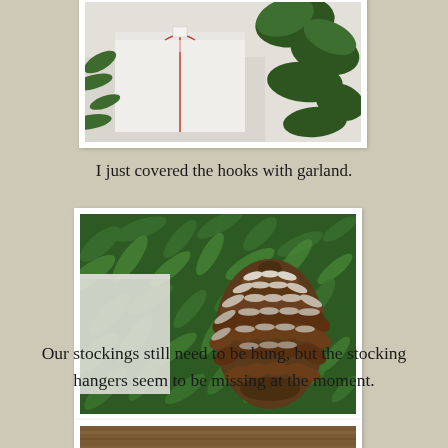[Figure (photo): Partial view of Christmas gift wrapping with red and white twine and green pine garland, white background, photo with white border frame]
I just covered the hooks with garland.
[Figure (photo): Close-up photograph of a snow-dusted pine cone resting on green pine garland with white wrapping paper visible, photo with white border frame]
Our stockings still need to be hung, but the stocking hangers seem to be missing at the moment.
[Figure (photo): Partial view of bottom photo, appears to show wooden surface, partially cut off at bottom of page]